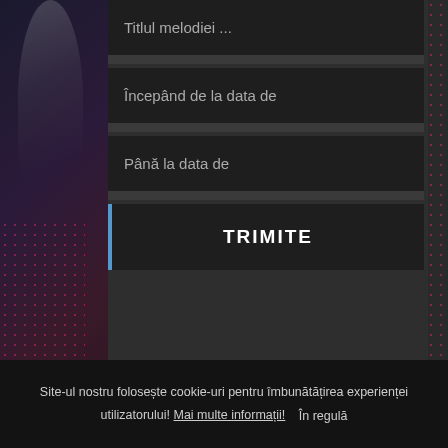Începând de la data de
Până la data de
TRIMITE
Site-ul nostru folosește cookie-uri pentru îmbunătățirea experienței utilizatorului! Mai multe informații! În regulă